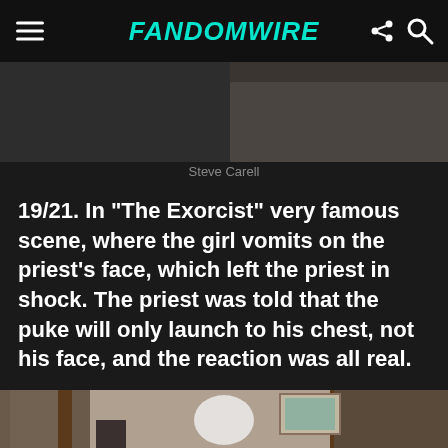FandomWire
[Figure (photo): Partial photo strip at the top of the page showing a cropped image (Steve Carell)]
Steve Carell
19/21. In “The Exorcist” very famous scene, where the girl vomits on the priest’s face, which left the priest in shock. The priest was told that the puke will only launch to his chest, not his face, and the reaction was all real.
[Figure (photo): Photo of a young girl in a white dress sitting on a bed with a four-poster wooden frame, from The Exorcist film.]